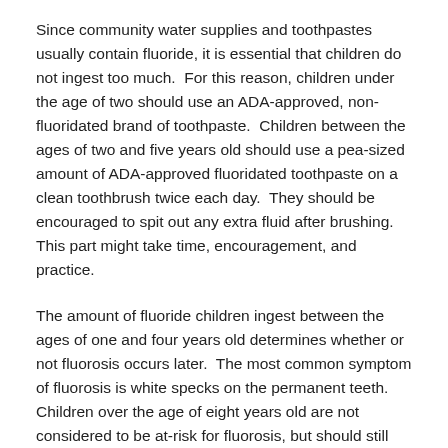Since community water supplies and toothpastes usually contain fluoride, it is essential that children do not ingest too much.  For this reason, children under the age of two should use an ADA-approved, non-fluoridated brand of toothpaste.  Children between the ages of two and five years old should use a pea-sized amount of ADA-approved fluoridated toothpaste on a clean toothbrush twice each day.  They should be encouraged to spit out any extra fluid after brushing.  This part might take time, encouragement, and practice.
The amount of fluoride children ingest between the ages of one and four years old determines whether or not fluorosis occurs later.  The most common symptom of fluorosis is white specks on the permanent teeth.  Children over the age of eight years old are not considered to be at-risk for fluorosis, but should still use an ADA-approved brand of toothpaste.